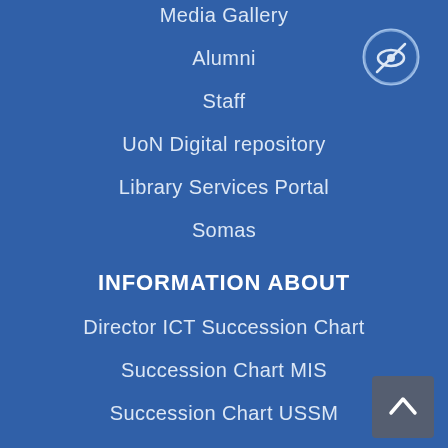Media Gallery
Alumni
Staff
UoN Digital repository
Library Services Portal
Somas
INFORMATION ABOUT
Director ICT Succession Chart
Succession Chart MIS
Succession Chart USSM
Succession Chart NIS
Succession Chart Communication
[Figure (illustration): Eye with slash through it icon in a blue circle (visibility toggle button)]
[Figure (illustration): Back to top arrow button in dark grey rounded rectangle]